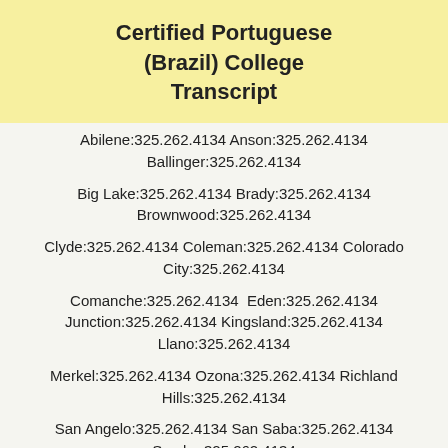Certified Portuguese (Brazil) College Transcript
Abilene:325.262.4134 Anson:325.262.4134 Ballinger:325.262.4134
Big Lake:325.262.4134 Brady:325.262.4134 Brownwood:325.262.4134
Clyde:325.262.4134 Coleman:325.262.4134 Colorado City:325.262.4134
Comanche:325.262.4134  Eden:325.262.4134 Junction:325.262.4134 Kingsland:325.262.4134 Llano:325.262.4134
Merkel:325.262.4134 Ozona:325.262.4134 Richland Hills:325.262.4134
San Angelo:325.262.4134 San Saba:325.262.4134 Snyder:325.262.4134
Sonora:325.262.4134 Stamford:325.262.4134 Sweetwater:325.262.4134